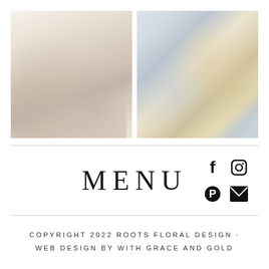[Figure (photo): Two wedding photos side by side: left shows bridesmaids in pastel dresses standing outdoors in front of a brick building; right shows a wedding table setting with floral centerpieces in yellow and white on a blue tablecloth with gold table number signs.]
MENU
[Figure (infographic): Social media icons: Facebook (f), Instagram (camera), Pinterest (P), Email (envelope)]
COPYRIGHT 2022 ROOTS FLORAL DESIGN · WEB DESIGN BY WITH GRACE AND GOLD